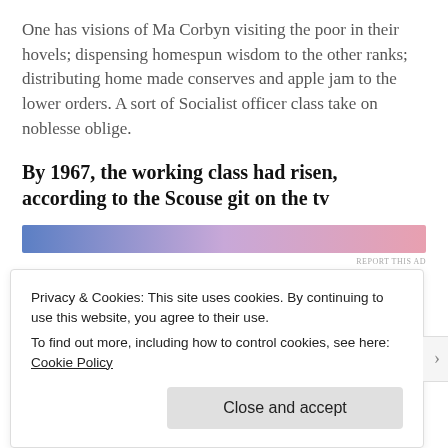One has visions of Ma Corbyn visiting the poor in their hovels; dispensing homespun wisdom to the other ranks; distributing home made conserves and apple jam to the lower orders. A sort of Socialist officer class take on noblesse oblige.
By 1967, the working class had risen, according to the Scouse git on the tv
[Figure (other): Advertisement banner with blue to pink gradient]
Privacy & Cookies: This site uses cookies. By continuing to use this website, you agree to their use.
To find out more, including how to control cookies, see here: Cookie Policy